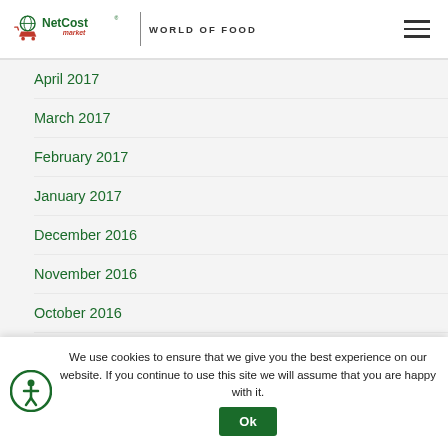NetCost market | WORLD OF FOOD
April 2017
March 2017
February 2017
January 2017
December 2016
November 2016
October 2016
September 2016
We use cookies to ensure that we give you the best experience on our website. If you continue to use this site we will assume that you are happy with it. Ok